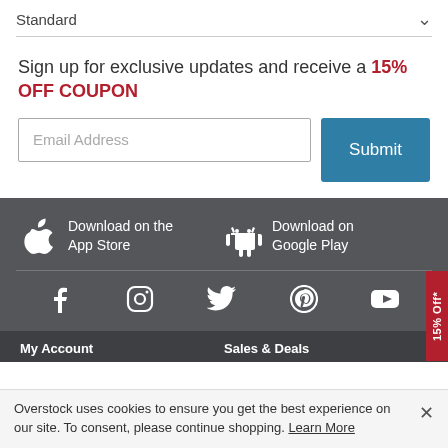Standard
Sign up for exclusive updates and receive a 15% OFF COUPON
Email Address
Submit
Download on the App Store
Download on Google Play
[Figure (infographic): Social media icons row: Facebook, Instagram, Twitter, Pinterest, YouTube]
15% Off*
My Account
Sales & Deals
Overstock uses cookies to ensure you get the best experience on our site. To consent, please continue shopping. Learn More